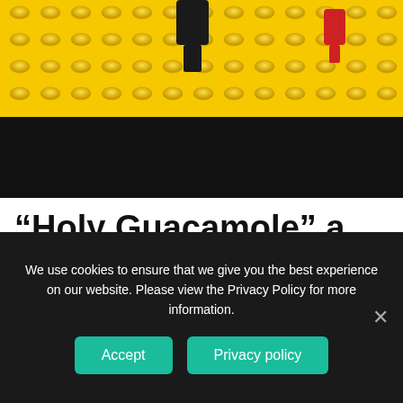[Figure (photo): Top portion of a Lego Batman scene showing yellow Lego bricks with studs on top and a dark/black band below, with a small Batman figure and another character visible]
“Holy Guacamole” a Lego Batman Movie is in Production
[Figure (photo): Close-up of Lego Batman ears/head against an orange-peach gradient background]
We use cookies to ensure that we give you the best experience on our website. Please view the Privacy Policy for more information.
Accept   Privacy policy